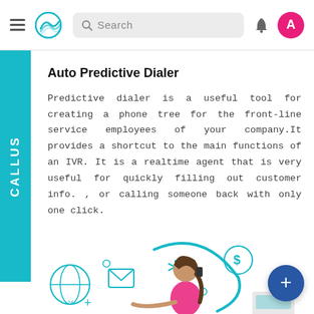Navigation bar with hamburger menu, logo, search box, bell icon, and user avatar 'A'
Auto Predictive Dialer
Predictive dialer is a useful tool for creating a phone tree for the front-line service employees of your company.It provides a shortcut to the main functions of an IVR. It is a realtime agent that is very useful for quickly filling out customer info. , or calling someone back with only one click.
[Figure (illustration): Illustration of a woman using a phone surrounded by digital communication icons (globe, email, dollar sign, asterisk) in teal/cyan style]